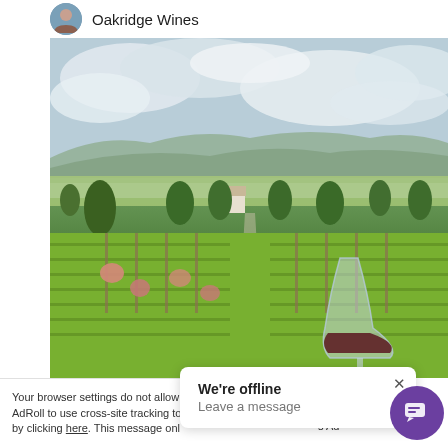Oakridge Wines
[Figure (photo): Vineyard landscape photo showing rows of grapevines with rose bushes at the ends, green grass pathways, trees lining the estate road, rolling hills in the background under a cloudy sky. A wine glass with red wine is visible in the lower right foreground.]
Your browser settings do not allow AdRoll to use cross-site tracking to by clicking here. This message onl
We're offline
Leave a message
ept a is s Ad